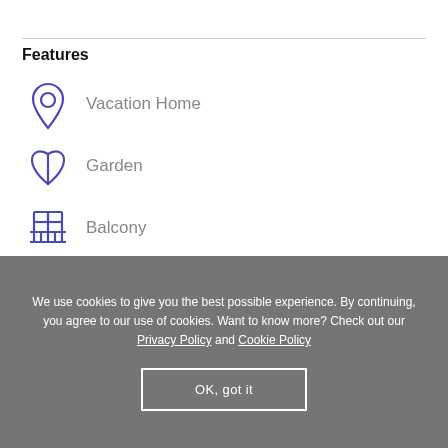Features
Vacation Home
Garden
Balcony
Pool
Cleaner
We use cookies to give you the best possible experience. By continuing, you agree to our use of cookies. Want to know more? Check out our Privacy Policy and Cookie Policy
OK, got it